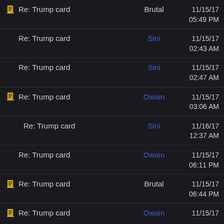Re: Trump card | Brutal | 11/15/17 05:49 PM
Re: Trump card | Sini | 11/15/17 02:43 AM
Re: Trump card | Sini | 11/15/17 02:47 AM
Re: Trump card | Owain | 11/15/17 03:06 AM
Re: Trump card | Sini | 11/16/17 12:37 AM
Re: Trump card | Owain | 11/15/17 06:11 PM
Re: Trump card | Brutal | 11/15/17 06:44 PM
Re: Trump card | Owain | 11/15/17